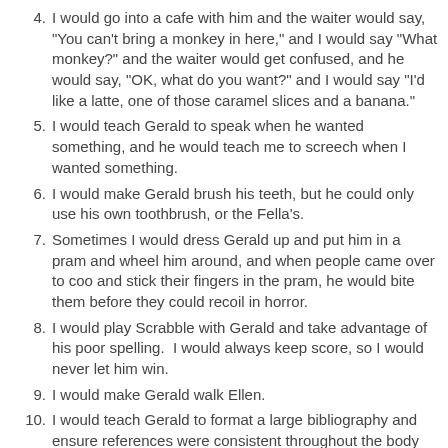4. I would go into a cafe with him and the waiter would say, "You can't bring a monkey in here," and I would say "What monkey?" and the waiter would get confused, and he would say, "OK, what do you want?" and I would say "I'd like a latte, one of those caramel slices and a banana."
5. I would teach Gerald to speak when he wanted something, and he would teach me to screech when I wanted something.
6. I would make Gerald brush his teeth, but he could only use his own toothbrush, or the Fella's.
7. Sometimes I would dress Gerald up and put him in a pram and wheel him around, and when people came over to coo and stick their fingers in the pram, he would bite them before they could recoil in horror.
8. I would play Scrabble with Gerald and take advantage of his poor spelling.  I would always keep score, so I would never let him win.
9. I would make Gerald walk Ellen.
10. I would teach Gerald to format a large bibliography and ensure references were consistent throughout the body